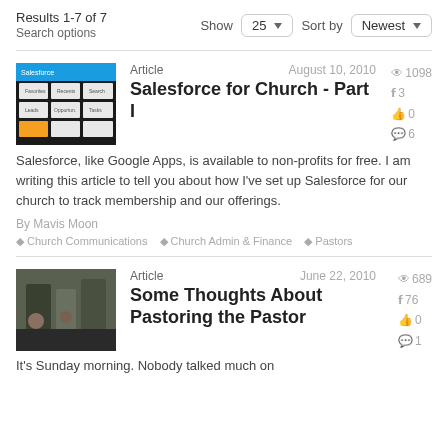Results 1-7 of 7
Search options
Show 25 Sort by Newest
Article   August 10, 2010
Salesforce for Church - Part I
👁 1098  3  0  6
Salesforce, like Google Apps, is available to non-profits for free. I am writing this article to tell you about how I've set up Salesforce for our church to track membership and our offerings.
By Mavis Moon
Church Communications  Church Admin & Finance  Pastors
Article   June 22, 2010
Some Thoughts About Pastoring the Pastor
👁 689  76  0  1
It's Sunday morning. Nobody talked much on